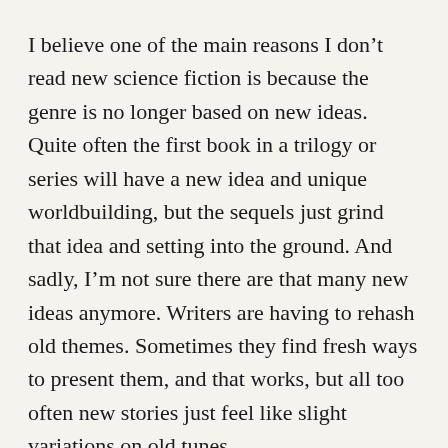I believe one of the main reasons I don't read new science fiction is because the genre is no longer based on new ideas. Quite often the first book in a trilogy or series will have a new idea and unique worldbuilding, but the sequels just grind that idea and setting into the ground. And sadly, I'm not sure there are that many new ideas anymore. Writers are having to rehash old themes. Sometimes they find fresh ways to present them, and that works, but all too often new stories just feel like slight variations on old tunes.
However, I haven't given up. Breakthrough SF novels do come out. The problem is finding them